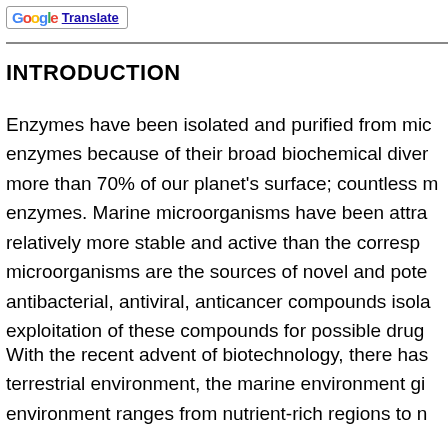Translate
INTRODUCTION
Enzymes have been isolated and purified from microorganisms because of their broad biochemical diversity. The ocean covers more than 70% of our planet's surface; countless marine organisms produce enzymes. Marine microorganisms have been attracted because they are relatively more stable and active than the corresponding terrestrial; microorganisms are the sources of novel and potentially useful antibacterial, antiviral, anticancer compounds isolated for the exploitation of these compounds for possible drug development.
With the recent advent of biotechnology, there has been interest in the terrestrial environment, the marine environment gi... environment ranges from nutrient-rich regions to n...